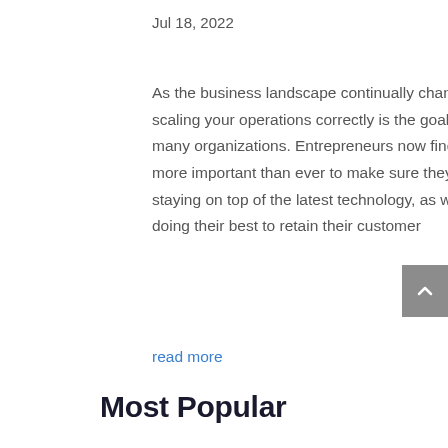Jul 18, 2022
As the business landscape continually changes, scaling your operations correctly is the goal of many organizations. Entrepreneurs now find it more important than ever to make sure they are staying on top of the latest technology, as well as doing their best to retain their customer
read more
Most Popular